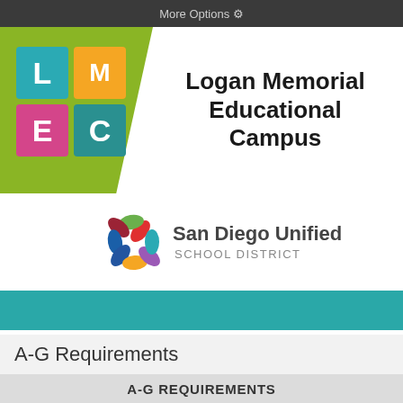More Options ⚙
[Figure (logo): LMEC logo with four colored squares (teal L, orange M, pink E, green E) on a green background]
Logan Memorial Educational Campus
[Figure (logo): San Diego Unified School District logo with colorful star/flower and text]
A-G Requirements
A-G REQUIREMENTS